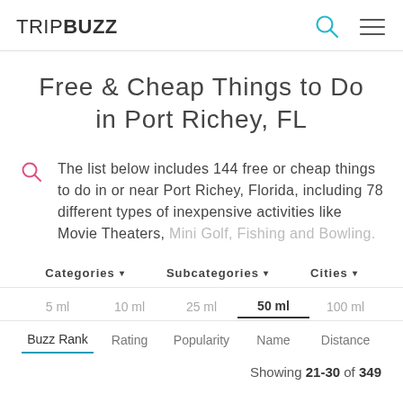TRIPBUZZ
Free & Cheap Things to Do in Port Richey, FL
The list below includes 144 free or cheap things to do in or near Port Richey, Florida, including 78 different types of inexpensive activities like Movie Theaters, Mini Golf, Fishing and Bowling.
Categories ▾
Subcategories ▾
Cities ▾
5 ml
10 ml
25 ml
50 ml
100 ml
Buzz Rank
Rating
Popularity
Name
Distance
Showing 21-30 of 349